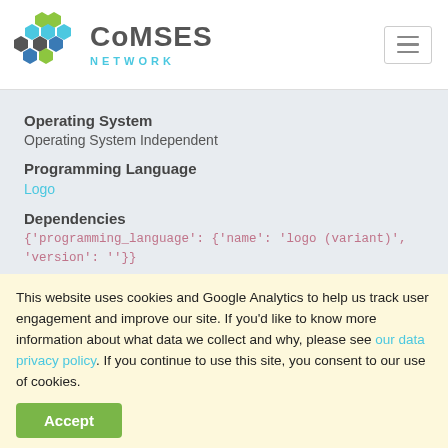CoMSES NETWORK
Operating System
Operating System Independent
Programming Language
Logo
Dependencies
{'programming_language': {'name': 'logo (variant)', 'version': ''}}
Publish Date
Friday, October 16, 2015
Last Updated
Friday, October 16, 2015
This website uses cookies and Google Analytics to help us track user engagement and improve our site. If you'd like to know more information about what data we collect and why, please see our data privacy policy. If you continue to use this site, you consent to our use of cookies.
Accept